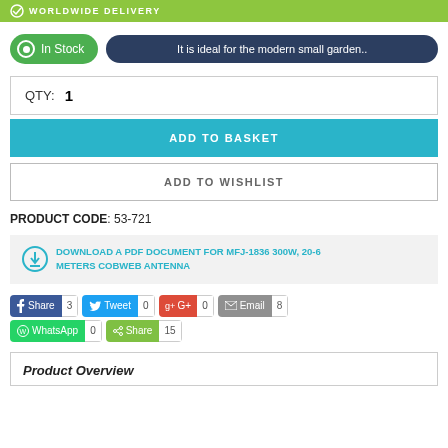WORLDWIDE DELIVERY
In Stock
It is ideal for the modern small garden..
QTY: 1
ADD TO BASKET
ADD TO WISHLIST
PRODUCT CODE: 53-721
DOWNLOAD A PDF DOCUMENT FOR MFJ-1836 300W, 20-6 METERS COBWEB ANTENNA
Share 3  Tweet 0  G+ 0  Email 8  WhatsApp 0  Share 15
Product Overview